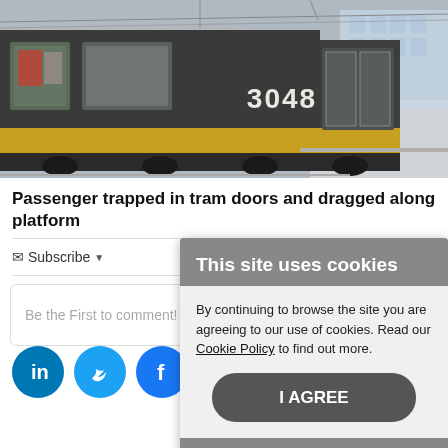[Figure (photo): A tram numbered 3048 at a platform station, viewed from the side, dark silver/grey body with yellow lower panels]
Passenger trapped in tram doors and dragged along platform
Subscribe
Be the First to comment!
[Figure (infographic): Cookie consent popup: 'This site uses cookies. By continuing to browse the site you are agreeing to our use of cookies. Read our Cookie Policy to find out more.' with an I AGREE button]
[Figure (infographic): Social sharing icons row: LinkedIn, Twitter, Facebook, Reddit, Email]